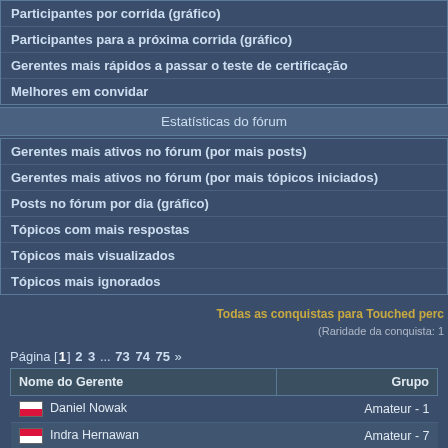Participantes por corrida (gráfico)
Participantes para a próxima corrida (gráfico)
Gerentes mais rápidos a passar o teste de certificação
Melhores em convidar
Estatísticas do fórum
Gerentes mais ativos no fórum (por mais posts)
Gerentes mais ativos no fórum (por mais tópicos iniciados)
Posts no fórum por dia (gráfico)
Tópicos com mais respostas
Tópicos mais visualizados
Tópicos mais ignorados
Todas as conquistas para Touched perc... (Raridade da conquista: 1...
Página [1] 2 3 ... 73 74 75 »
| Nome do Gerente | Grupo |
| --- | --- |
| Daniel Nowak | Amateur - 1 |
| Indra Hernawan | Amateur - 7 |
| Johnny Foubert | Rookie - 83 |
| Chris Davis | Amateur - 73 |
| Rico La Torre | Amateur - 14 |
| Dariusz Bialecki | Amateur - 5 |
| Darlene Jameson | Rookie - 20 |
| Ivan Cabello | Amateur - 57 |
| Peter Pietrzak | Amateur - 11 |